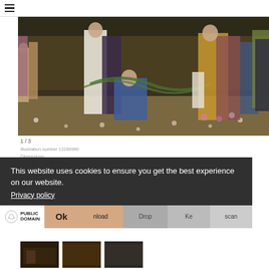[Figure (photo): Large classical painting showing multiple figures in a scene with garlands and flowers, semi-nude figures on the left and elaborately dressed figures on the right]
1 / 3
Illustration number 13186990
Dimensions: ...
LICENSE_FROM.COM
[Figure (photo): Three small thumbnail images of paintings at the bottom]
This website uses cookies to ensure you get the best experience on our website.
Privacy policy
Ok